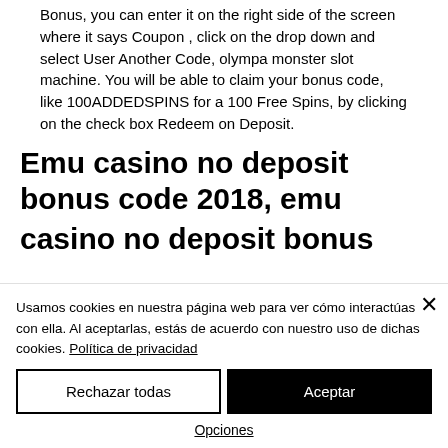Bonus, you can enter it on the right side of the screen where it says Coupon , click on the drop down and select User Another Code, olympa monster slot machine. You will be able to claim your bonus code, like 100ADDEDSPINS for a 100 Free Spins, by clicking on the check box Redeem on Deposit.
Emu casino no deposit bonus code 2018, emu casino no deposit bonus
Usamos cookies en nuestra página web para ver cómo interactúas con ella. Al aceptarlas, estás de acuerdo con nuestro uso de dichas cookies. Política de privacidad
Rechazar todas
Aceptar
Opciones